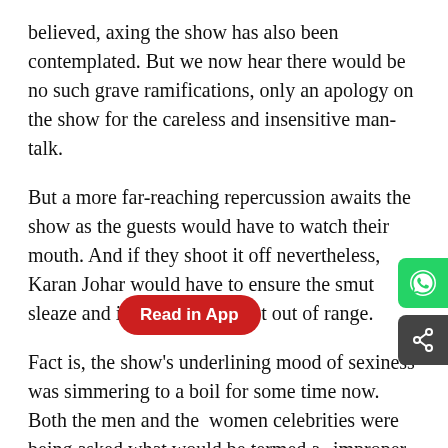believed, axing the show has also been contemplated. But we now hear there would be no such grave ramifications, only an apology on the show for the careless and insensitive man-talk.
But a more far-reaching repercussion awaits the show as the guests would have to watch their mouth. And if they shoot it off nevertheless, Karan Johar would have to ensure the smut sleaze and innuendos are kept out of range.
Fact is, the show's underlining mood of sexiness was simmering to a boil for some time now. Both the men and the women celebrities were being asked what would be termed as improper questions and [Read in App] d okay since, "Karan like that only," as one of his indulgent female star guests told me.
Crossing the line comes naturally on Koffee With Karan. It comes with the territory. The show is an extension of Karan